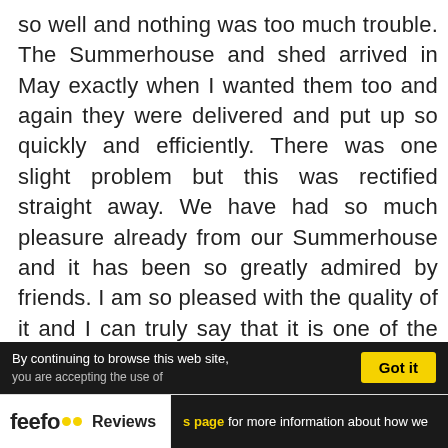so well and nothing was too much trouble. The Summerhouse and shed arrived in May exactly when I wanted them too and again they were delivered and put up so quickly and efficiently. There was one slight problem but this was rectified straight away. We have had so much pleasure already from our Summerhouse and it has been so greatly admired by friends. I am so pleased with the quality of it and I can truly say that it is one of the best things that I have ever purchased! THANKYOU to you all!!
ps. If there was one criticism I think that you should display them like this rather than just empty!
By continuing to browse this web site, you are accepting the use of Got it cookies. Please visit our cookies page for more information about how we use them.
feefo Reviews